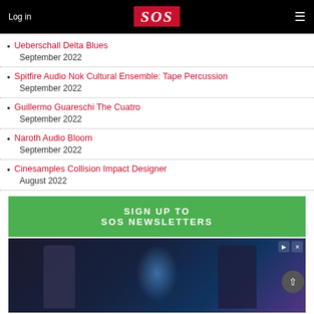Log in | SOS | Menu
Ueberschall Delta Blues
September 2022
Spitfire Audio Nok Cultural Ensemble: Tape Percussion
September 2022
Guillermo Guareschi The Cuatro
September 2022
Naroth Audio Bloom
September 2022
Cinesamples Collision Impact Designer
August 2022
SIGN UP TO
SOS NEWSLETTERS
[Figure (photo): Advertisement showing two science-fiction characters with glowing energy effects in background, with ad controls (arrow and X) in top right corner, and a scroll-to-top button (chevron up) at bottom right.]